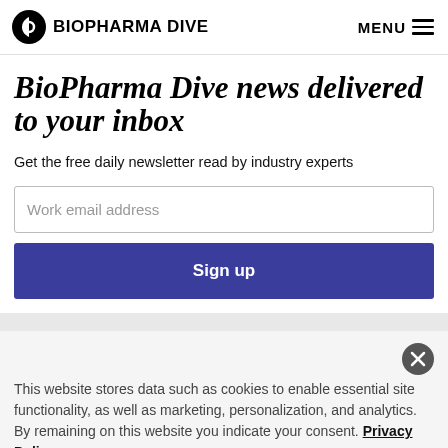BIOPHARMA DIVE | MENU
BioPharma Dive news delivered to your inbox
Get the free daily newsletter read by industry experts
Work email address
Sign up
This website stores data such as cookies to enable essential site functionality, as well as marketing, personalization, and analytics. By remaining on this website you indicate your consent. Privacy Policy